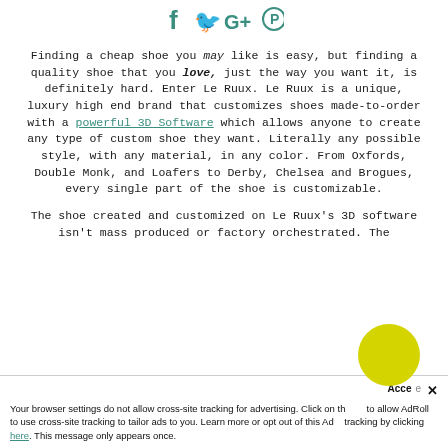[Figure (logo): Social media icons: Facebook, Twitter, Google+, Pinterest in teal/green color]
Finding a cheap shoe you may like is easy, but finding a quality shoe that you love, just the way you want it, is definitely hard. Enter Le Ruux. Le Ruux is a unique, luxury high end brand that customizes shoes made-to-order with a powerful 3D Software which allows anyone to create any type of custom shoe they want. Literally any possible style, with any material, in any color. From Oxfords, Double Monk, and Loafers to Derby, Chelsea and Brogues, every single part of the shoe is customizable.
The shoe created and customized on Le Ruux's 3D software isn't mass produced or factory orchestrated. The...
Your browser settings do not allow cross-site tracking for advertising. Click on the button to allow AdRoll to use cross-site tracking to tailor ads to you. Learn more or opt out of this AdRoll tracking by clicking here. This message only appears once.